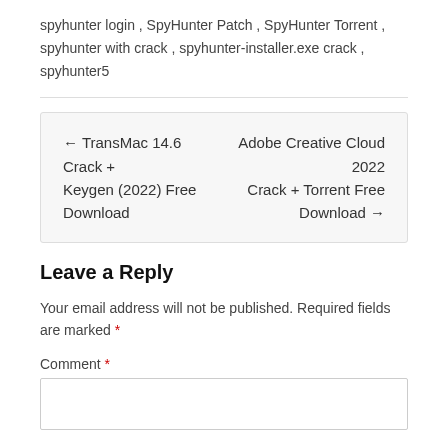spyhunter login , SpyHunter Patch , SpyHunter Torrent , spyhunter with crack , spyhunter-installer.exe crack , spyhunter5
← TransMac 14.6 Crack + Keygen (2022) Free Download    Adobe Creative Cloud 2022 Crack + Torrent Free Download →
Leave a Reply
Your email address will not be published. Required fields are marked *
Comment *